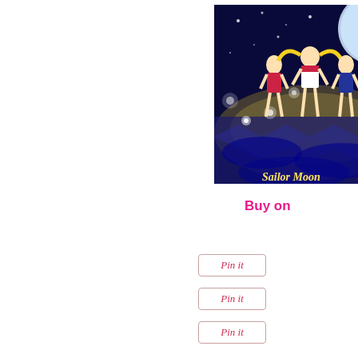[Figure (illustration): Sailor Moon anime poster showing Sailor Moon characters including a masked gentleman in a top hat against a blue starry night background with a large moon and city lights]
Buy on
[Figure (other): Pin it button 1]
[Figure (other): Pin it button 2]
[Figure (other): Pin it button 3]